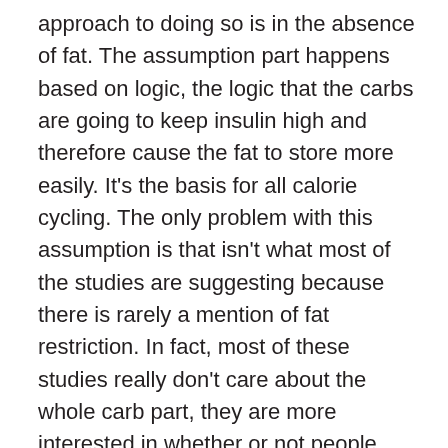approach to doing so is in the absence of fat.  The assumption part happens based on logic, the logic that the carbs are going to keep insulin high and therefore cause the fat to store more easily.  It's the basis for all calorie cycling.  The only problem with this assumption is that isn't what most of the studies are suggesting because there is rarely a mention of fat restriction.  In fact, most of these studies really don't care about the whole carb part, they are more interested in whether or not people function better with their calories in the evening.  Fats blunt insulin so the uptake of glucose to your cells is slowed.  Fats also slow digestion.  Much of the science suggesting eating carbs at night is the exact science that suggested you shouldn't eat after 6pm.  Namely that it inhibited your bodies recovery hormones.  So the hypothesis goes that if you eat your fats with carbs (glucose) that slows the